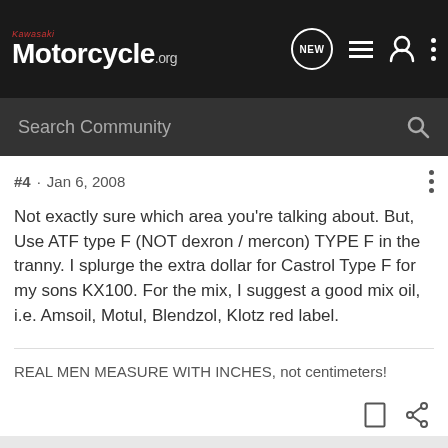Kawasaki Motorcycle.org
#4 · Jan 6, 2008
Not exactly sure which area you're talking about. But, Use ATF type F (NOT dexron / mercon) TYPE F in the tranny. I splurge the extra dollar for Castrol Type F for my sons KX100. For the mix, I suggest a good mix oil, i.e. Amsoil, Motul, Blendzol, Klotz red label.
REAL MEN MEASURE WITH INCHES, not centimeters!